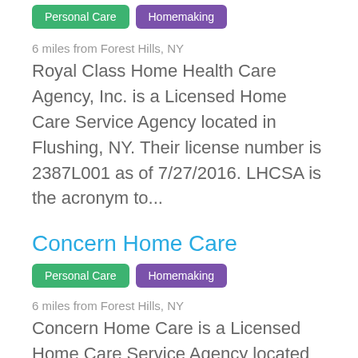Personal Care | Homemaking
6 miles from Forest Hills, NY
Royal Class Home Health Care Agency, Inc. is a Licensed Home Care Service Agency located in Flushing, NY. Their license number is 2387L001 as of 7/27/2016. LHCSA is the acronym to...
Concern Home Care
Personal Care | Homemaking
6 miles from Forest Hills, NY
Concern Home Care is a Licensed Home Care Service Agency located in Jamaica,